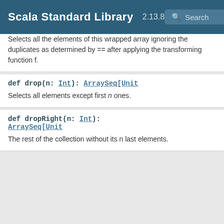Scala Standard Library 2.13.8 Search
Selects all the elements of this wrapped array ignoring the duplicates as determined by == after applying the transforming function f.
def drop(n: Int): ArraySeq[Unit
Selects all elements except first n ones.
def dropRight(n: Int): ArraySeq[Unit
The rest of the collection without its n last elements.